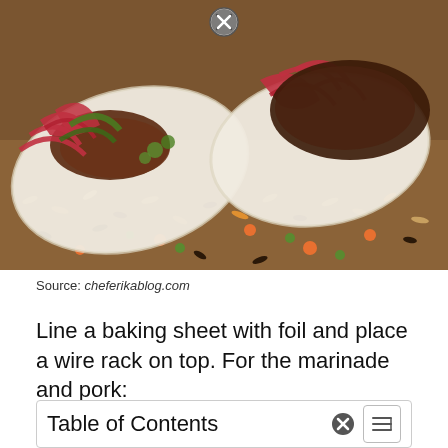[Figure (photo): Close-up photo of tacos filled with meat, red pickled onions, green peppers and cilantro in flour tortillas, served on a bed of mixed grains including brown rice, green lentils, and orange lentils.]
Source: cheferikablog.com
Line a baking sheet with foil and place a wire rack on top. For the marinade and pork:
Table of Contents